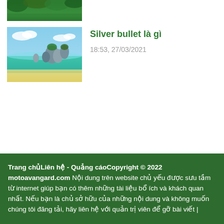[Figure (photo): Partial tropical beach/forest image cropped at top of page]
[Figure (photo): Beach with large granite rocks, turquoise water and blue sky — tropical scene]
Silver bullet là gì
18:53, 27/03/2021
Trang chủLiên hệ - Quảng cáoCopyright © 2022 motoavangard.com Nội dung trên website chủ yếu được sưu tầm từ internet giúp bạn có thêm những tài liệu bổ ích và khách quan nhất. Nếu bạn là chủ sở hữu của những nội dung và không muốn chúng tôi đăng tải, hãy liên hệ với quản trị viên để gỡ bài viết |